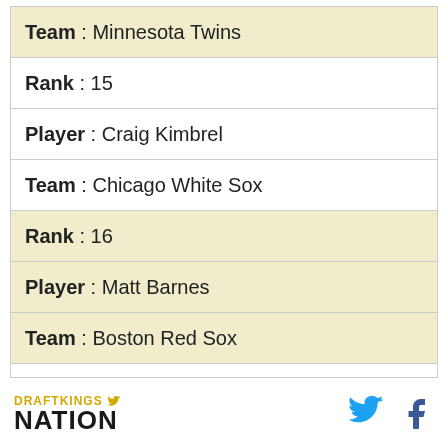| Team : Minnesota Twins |
| Rank : 15 |
| Player : Craig Kimbrel |
| Team : Chicago White Sox |
| Rank : 16 |
| Player : Matt Barnes |
| Team : Boston Red Sox |
| Rank : 17 |
| Player : Mark Melancon |
| Team : Arizona Diamondbacks |
DraftKings Nation